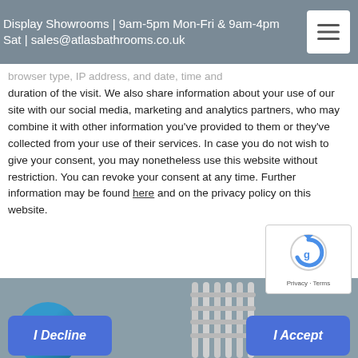Display Showrooms | 9am-5pm Mon-Fri & 9am-4pm Sat | sales@atlasbathrooms.co.uk
...browser type, IP address, and date, time and duration of the visit. We also share information about your use of our site with our social media, marketing and analytics partners, who may combine it with other information you've provided to them or they've collected from your use of their services. In case you do not wish to give your consent, you may nonetheless use this website without restriction. You can revoke your consent at any time. Further information may be found here and on the privacy policy on this website.
I Decline
I Accept
Home / HEATING / Towel Radiators Electric Only / Hugo2 Electric Standard Towel Radiator 1652 x 400 – Mont Blanc
[Figure (other): Product image area showing partial view of towel radiator and circular brand logo element at bottom of page]